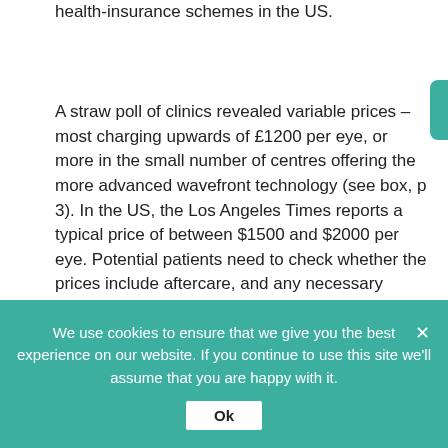health-insurance schemes in the US.
A straw poll of clinics revealed variable prices – most charging upwards of £1200 per eye, or more in the small number of centres offering the more advanced wavefront technology (see box, p 3). In the US, the Los Angeles Times reports a typical price of between $1500 and $2000 per eye. Potential patients need to check whether the prices include aftercare, and any necessary repair or retreatment in case of disappointing
We use cookies to ensure that we give you the best experience on our website. If you continue to use this site we'll assume that you are happy with it.
Ok